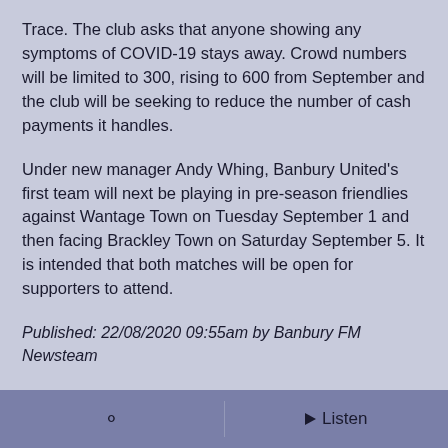Trace.   The club asks that anyone showing any symptoms of COVID-19 stays away.   Crowd numbers will be limited to 300, rising to 600 from September and the club will be seeking to reduce the number of cash payments it handles.
Under new manager Andy Whing, Banbury United's first team will next be playing in pre-season friendlies against Wantage Town on Tuesday September 1 and then facing Brackley Town on Saturday September 5.   It is intended that both matches will be open for supporters to attend.
Published: 22/08/2020 09:55am by Banbury FM Newsteam
READER'S OPINIONS